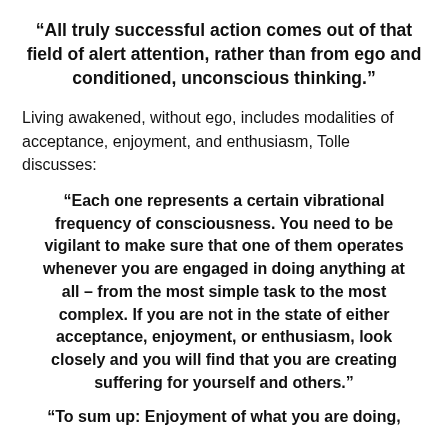“All truly successful action comes out of that field of alert attention, rather than from ego and conditioned, unconscious thinking.”
Living awakened, without ego, includes modalities of acceptance, enjoyment, and enthusiasm, Tolle discusses:
“Each one represents a certain vibrational frequency of consciousness. You need to be vigilant to make sure that one of them operates whenever you are engaged in doing anything at all – from the most simple task to the most complex. If you are not in the state of either acceptance, enjoyment, or enthusiasm, look closely and you will find that you are creating suffering for yourself and others.”
“To sum up: Enjoyment of what you are doing,